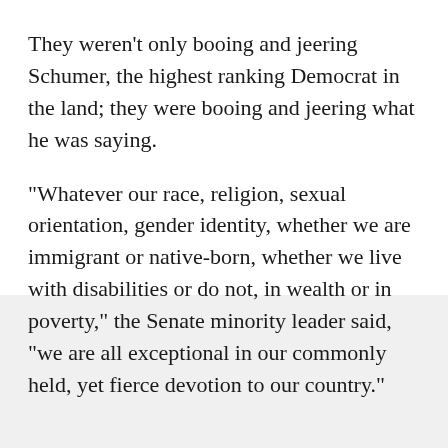They weren't only booing and jeering Schumer, the highest ranking Democrat in the land; they were booing and jeering what he was saying.
“Whatever our race, religion, sexual orientation, gender identity, whether we are immigrant or native-born, whether we live with disabilities or do not, in wealth or in poverty,” the Senate minority leader said, “we are all exceptional in our commonly held, yet fierce devotion to our country.”